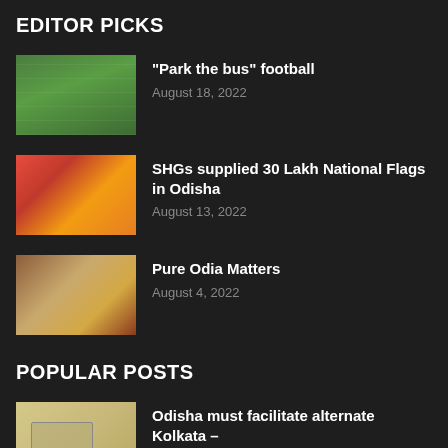EDITOR PICKS
"Park the bus" football
August 18, 2022
SHGs supplied 30 Lakh National Flags in Odisha
August 13, 2022
Pure Odia Matters
August 4, 2022
POPULAR POSTS
Odisha must facilitate alternate Kolkata – Chennai route via Baripada and...